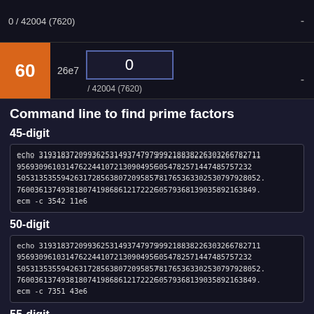0 / 42004 (7620)
60  26e7  0  / 42004 (7620)
Command line to find prime factors
45-digit
echo 31931837209936253149374797999218838226303266782711
9569309610314762244107213090495605478257144748575723232
5053135355942631728563807209585781765363302530797928052
760036137493818074198686121722260579368139035892163849
ecm -c 3542 11e6
50-digit
echo 31931837209936253149374797999218838226303266782711
9569309610314762244107213090495605478257144748575723232
5053135355942631728563807209585781765363302530797928052
760036137493818074198686121722260579368139035892163849
ecm -c 7351 43e6
55-digit